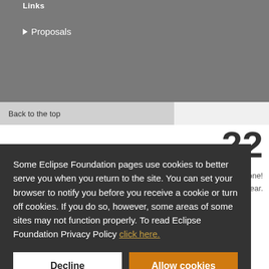Links
▶ Proposals
Back to the top
22
veryone! he year.
Some Eclipse Foundation pages use cookies to better serve you when you return to the site. You can set your browser to notify you before you receive a cookie or turn off cookies. If you do so, however, some areas of some sites may not function properly. To read Eclipse Foundation Privacy Policy click here.
Decline
Allow cookies
Contact Us